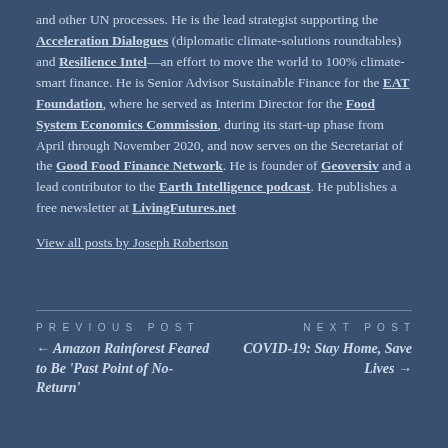and other UN processes. He is the lead strategist supporting the Acceleration Dialogues (diplomatic climate-solutions roundtables) and Resilience Intel—an effort to move the world to 100% climate-smart finance. He is Senior Advisor Sustainable Finance for the EAT Foundation, where he served as Interim Director for the Food System Economics Commission, during its start-up phase from April through November 2020, and now serves on the Secretariat of the Good Food Finance Network. He is founder of Geoversiv and a lead contributor to the Earth Intelligence podcast. He publishes a free newsletter at LivingFutures.net
View all posts by Joseph Robertson
PREVIOUS POST ← Amazon Rainforest Feared to Be 'Past Point of No-Return'   NEXT POST COVID-19: Stay Home, Save Lives →